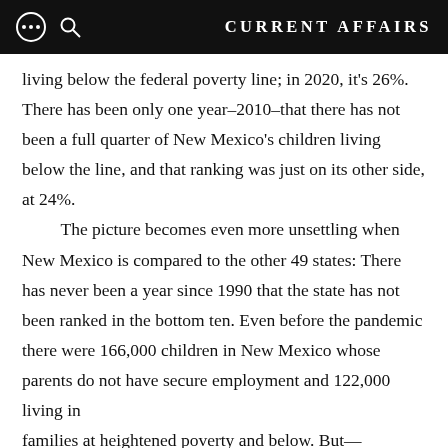CURRENT AFFAIRS
living below the federal poverty line; in 2020, it's 26%. There has been only one year–2010–that there has not been a full quarter of New Mexico's children living below the line, and that ranking was just on its other side, at 24%.

The picture becomes even more unsettling when New Mexico is compared to the other 49 states: There has never been a year since 1990 that the state has not been ranked in the bottom ten. Even before the pandemic there were 166,000 children in New Mexico whose parents do not have secure employment and 122,000 living in families at heightened poverty and below. But—